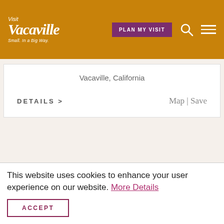Visit Vacaville — Small. In a Big Way. | PLAN MY VISIT
Vacaville, California
DETAILS > Map | Save
This website uses cookies to enhance your user experience on our website. More Details
ACCEPT